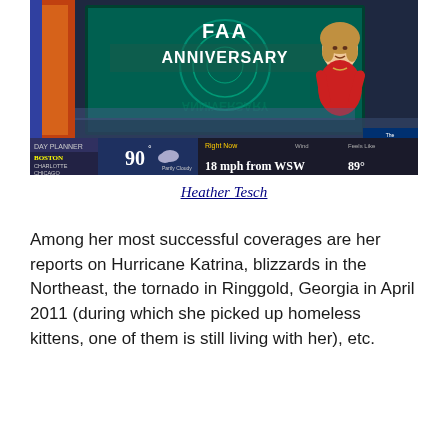[Figure (screenshot): A screenshot of a TV weather broadcast on The Weather Channel. A female presenter in a red top stands in front of a large screen showing 'FAA ANNIVERSARY'. The lower-third ticker shows: DAY PLANNER, BOSTON, CHARLOTTE, CHICAGO, CINCINNATI listed on left; center shows 90° Partly Cloudy; Right Now: Wind 18 mph from WSW, Feels Like 89°; The Weather Channel weather.com logo on the right.]
Heather Tesch
Among her most successful coverages are her reports on Hurricane Katrina, blizzards in the Northeast, the tornado in Ringgold, Georgia in April 2011 (during which she picked up homeless kittens, one of them is still living with her), etc.